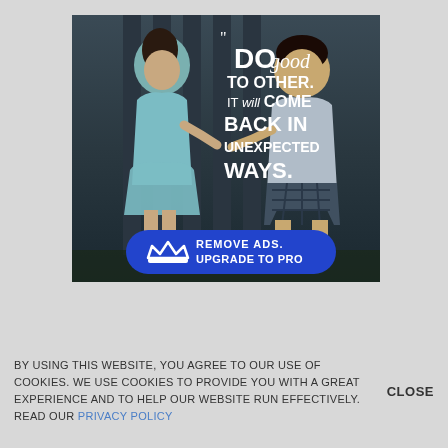[Figure (photo): Two young children sharing something, with motivational quote text overlay: "DO good TO OTHER. IT will COME BACK IN UNEXPECTED WAYS." and a blue 'REMOVE ADS. UPGRADE TO PRO' button with crown icon at the bottom.]
BY USING THIS WEBSITE, YOU AGREE TO OUR USE OF COOKIES. WE USE COOKIES TO PROVIDE YOU WITH A GREAT EXPERIENCE AND TO HELP OUR WEBSITE RUN EFFECTIVELY. READ OUR PRIVACY POLICY
CLOSE